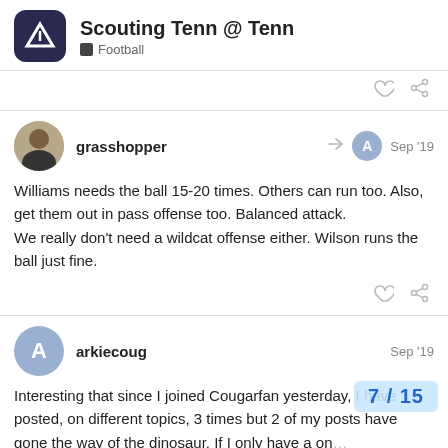Scouting Tenn @ Tenn — Football
Williams needs the ball 15-20 times. Others can run too. Also, get them out in pass offense too. Balanced attack.
We really don't need a wildcat offense either. Wilson runs the ball just fine.
grasshopper — Sep '19
arkiecoug — Sep '19
Interesting that since I joined Cougarfan yesterday, I have posted, on different topics, 3 times but 2 of my posts have gone the way of the dinosaur. If I only have a on... having my postings last, not sure why I wo...